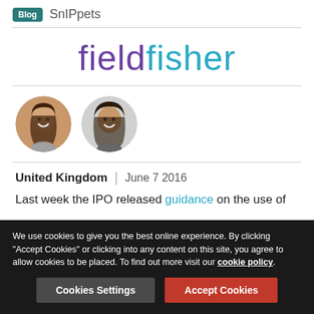Blog SnIPpets
[Figure (logo): Fieldfisher law firm logo with 'field' in purple and 'fisher' in teal]
[Figure (photo): Two circular avatar photos of people (authors)]
United Kingdom | June 7 2016
Last week the IPO released guidance on the use of
We use cookies to give you the best online experience. By clicking "Accept Cookies" or clicking into any content on this site, you agree to allow cookies to be placed. To find out more visit our cookie policy.